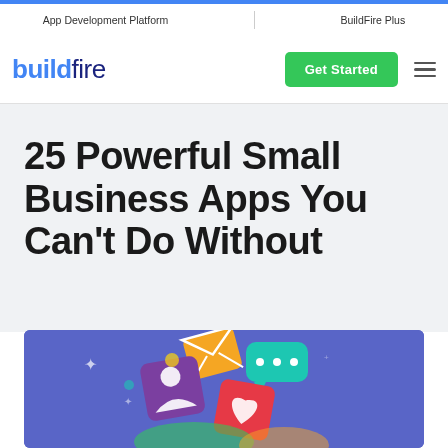App Development Platform | BuildFire Plus
[Figure (logo): BuildFire logo with blue 'build' and dark 'fire' text, green 'Get Started' button, and hamburger menu icon]
25 Powerful Small Business Apps You Can't Do Without
[Figure (illustration): Colorful 3D isometric illustration of app icons (email, chat, social, heart) floating on a purple/blue background]